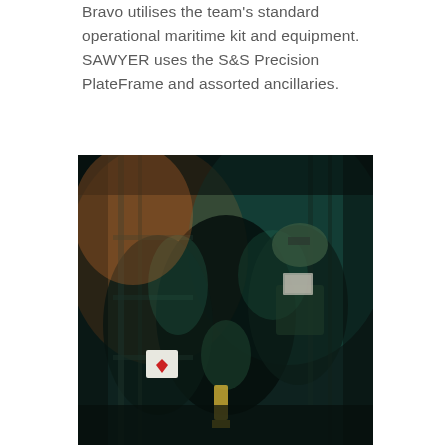Bravo utilises the team's standard operational maritime kit and equipment. SAWYER uses the S&S Precision PlateFrame and assorted ancillaries.
[Figure (photo): Military/tactical personnel in dark gear with teal/green lighting, wearing tactical vests including one with a white patch bearing a red heart symbol, carrying equipment in a dimly lit interior environment.]